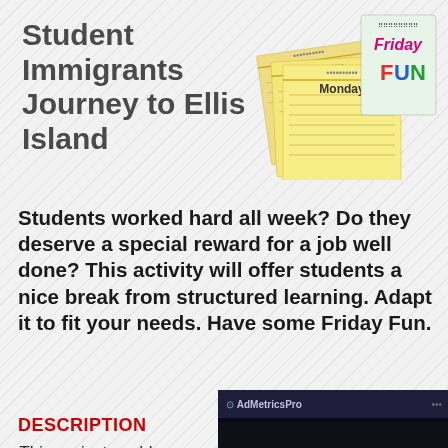Student Immigrants Journey to Ellis Island
[Figure (illustration): Sticky notes graphic showing days of the week (Monday, Tuesday, Wednesday, Thursday) and a 'Friday FUN' notepad with colorful text]
Students worked hard all week? Do they deserve a special reward for a job well done? This activity will offer students a nice break from structured learning. Adapt it to fit your needs. Have some Friday Fun.
DESCRIPTION
This project could ... handful of Friday ... that results will be devoted to it.
[Figure (screenshot): Video player screenshot from AdMetricsPro showing S&S Worldwide Online Learning with blue play buttons and mute icon]